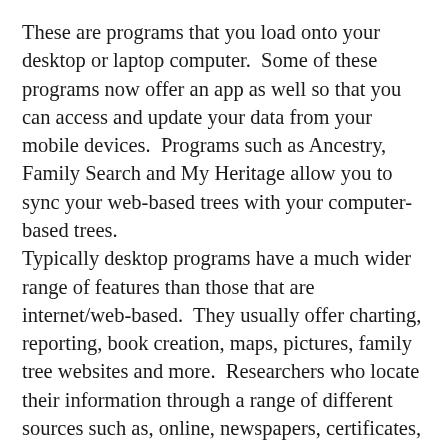These are programs that you load onto your desktop or laptop computer.  Some of these programs now offer an app as well so that you can access and update your data from your mobile devices.  Programs such as Ancestry, Family Search and My Heritage allow you to sync your web-based trees with your computer-based trees. Typically desktop programs have a much wider range of features than those that are internet/web-based.  They usually offer charting, reporting, book creation, maps, pictures, family tree websites and more.  Researchers who locate their information through a range of different sources such as, online, newspapers, certificates, document, other genealogists and family members will typically find this type of software more